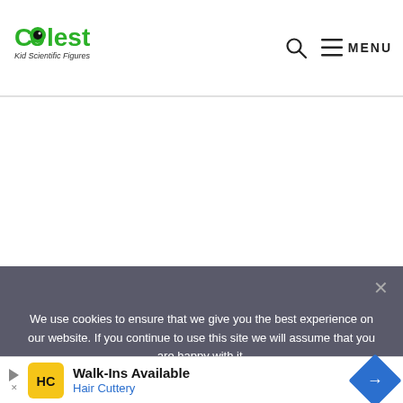Coolest Kid Scientific Figures — site header with logo, search icon, and MENU button
We use cookies to ensure that we give you the best experience on our website. If you continue to use this site we will assume that you are happy with it.
[Figure (other): Advertisement banner for Hair Cuttery — Walk-Ins Available, with yellow HC logo box and blue diamond arrow icon]